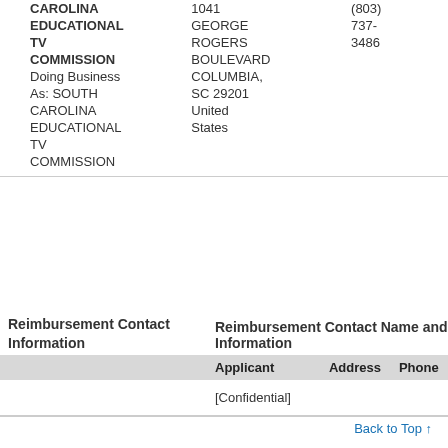| Applicant | Address | Phone |
| --- | --- | --- |
| CAROLINA EDUCATIONAL TV COMMISSION
Doing Business As: SOUTH CAROLINA EDUCATIONAL TV COMMISSION | 1041 GEORGE ROGERS BOULEVARD COLUMBIA, SC 29201 United States | (803) 737-3486 |
Reimbursement Contact Information
| Applicant | Address | Phone | Email |
| --- | --- | --- | --- |
| [Confidential] |  |  |  |
Back to Top ↑